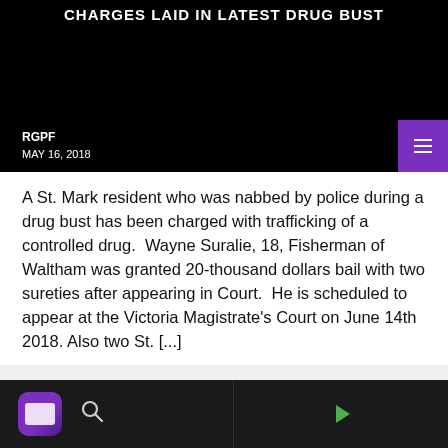CHARGES LAID IN LATEST DRUG BUST
RGPF
MAY 16, 2018
A St. Mark resident who was nabbed by police during a drug bust has been charged with trafficking of a controlled drug.  Wayne Suralie, 18, Fisherman of Waltham was granted 20-thousand dollars bail with two sureties after appearing in Court.  He is scheduled to appear at the Victoria Magistrate's Court on June 14th 2018. Also two St. [...]
[Figure (screenshot): Mobile app bottom navigation bar with app icon, search icon, divider, and play button on dark background]